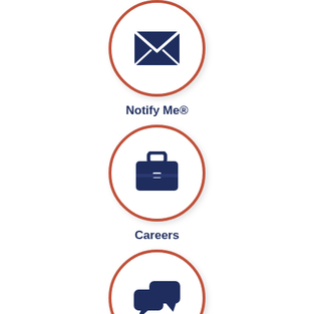[Figure (illustration): Circle icon with envelope/mail symbol for Notify Me service]
Notify Me®
[Figure (illustration): Circle icon with briefcase symbol for Careers service]
Careers
[Figure (illustration): Circle icon with speech bubbles symbol for Citizen Requests service]
Citizen Requests